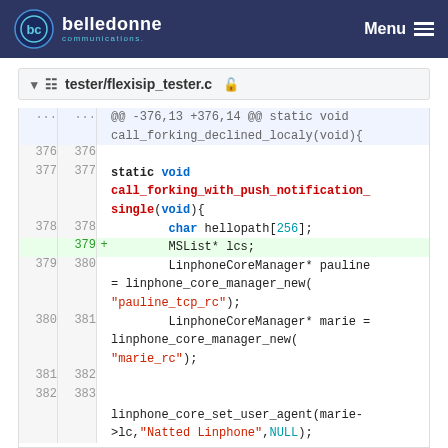belledonne communications — Menu
tester/flexisip_tester.c
[Figure (screenshot): Code diff view showing a C source file tester/flexisip_tester.c with line numbers and syntax highlighting. The diff shows addition of 'MSList* lcs;' on line 379, plus surrounding context including static void call_forking_with_push_notification_single(void){ and related linphone core manager calls.]